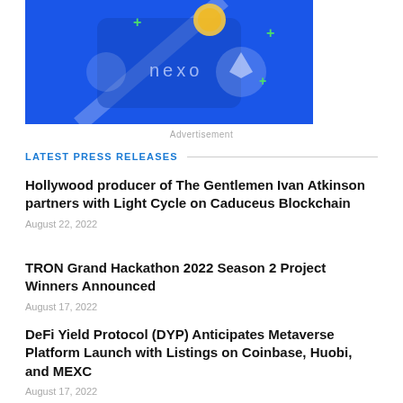[Figure (illustration): Blue Nexo cryptocurrency app advertisement banner with coins and green plus symbols]
Advertisement
LATEST PRESS RELEASES
Hollywood producer of The Gentlemen Ivan Atkinson partners with Light Cycle on Caduceus Blockchain
August 22, 2022
TRON Grand Hackathon 2022 Season 2 Project Winners Announced
August 17, 2022
DeFi Yield Protocol (DYP) Anticipates Metaverse Platform Launch with Listings on Coinbase, Huobi, and MEXC
August 17, 2022